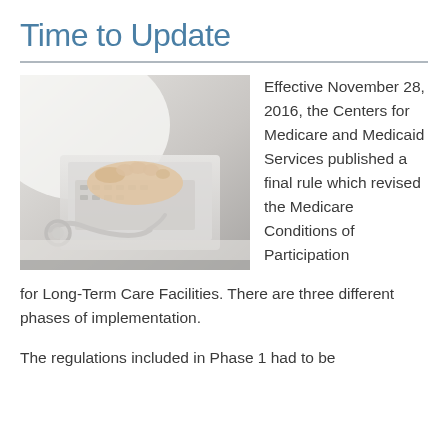Time to Update
[Figure (photo): A person typing on a laptop keyboard with a stethoscope in the foreground, suggesting a medical/healthcare professional updating records or documentation.]
Effective November 28, 2016, the Centers for Medicare and Medicaid Services published a final rule which revised the Medicare Conditions of Participation for Long-Term Care Facilities. There are three different phases of implementation.
The regulations included in Phase 1 had to be